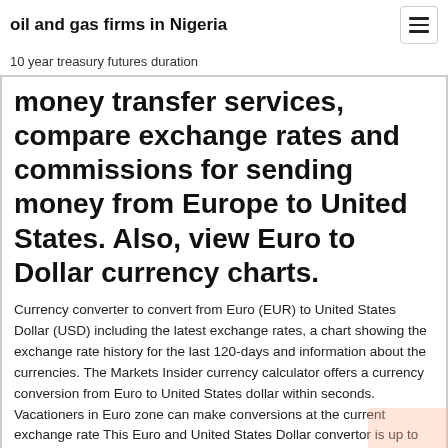oil and gas firms in Nigeria
10 year treasury futures duration
money transfer services, compare exchange rates and commissions for sending money from Europe to United States. Also, view Euro to Dollar currency charts.
Currency converter to convert from Euro (EUR) to United States Dollar (USD) including the latest exchange rates, a chart showing the exchange rate history for the last 120-days and information about the currencies. The Markets Insider currency calculator offers a currency conversion from Euro to United States dollar within seconds. Vacationers in Euro zone can make conversions at the current exchange rate This Euro and United States Dollar convertor is up to date with exchange